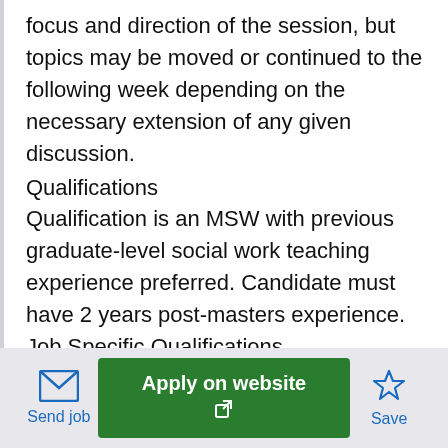focus and direction of the session, but topics may be moved or continued to the following week depending on the necessary extension of any given discussion.
Qualifications
Qualification is an MSW with previous graduate-level social work teaching experience preferred. Candidate must have 2 years post-masters experience. Job Specific Qualifications
“none” Responsibilities
Developing and/or updating a class syllabus. Preparation of lectures, projects, or other student assignments. Maintaining regularly scheduled office